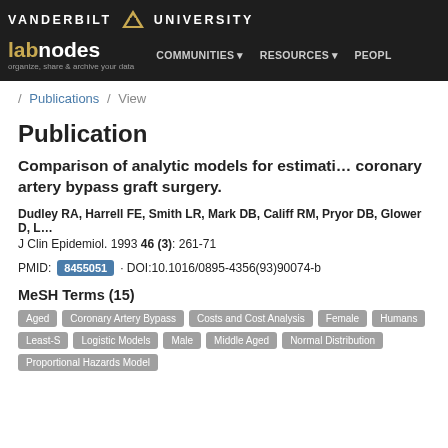VANDERBILT UNIVERSITY — labnodes — organize, share & archive your data — COMMUNITIES RESOURCES PEOPLE
/ Publications / View
Publication
Comparison of analytic models for estimating coronary artery bypass graft surgery.
Dudley RA, Harrell FE, Smith LR, Mark DB, Califf RM, Pryor DB, Glower D, L…
J Clin Epidemiol. 1993 46 (3): 261-71
PMID: 8455051 · DOI:10.1016/0895-4356(93)90074-b
MeSH Terms (15)
Aged, Coronary Artery Bypass, Costs and Cost Analysis, Female, Humans, Least-S…, Logistic Models, Male, Middle Aged, Normal Distribution, Proportional Hazards Model…